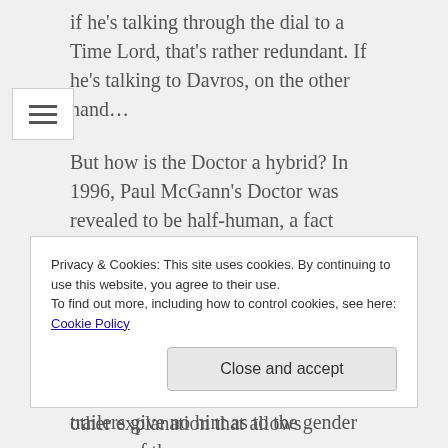if he's talking through the dial to a Time Lord, that's rather redundant. If he's talking to Davros, on the other hand…
But how is the Doctor a hybrid? In 1996, Paul McGann's Doctor was revealed to be half-human, a fact never addressed again and seemingly rejected as non-canon. Certainly, Moffat could resurrect that plot twist, but it will piss off just about every Whovian in existence. And he just as certainly could come up with some other explanation that allows
Privacy & Cookies: This site uses cookies. By continuing to use this website, you agree to their use.
To find out more, including how to control cookies, see here: Cookie Policy
Close and accept
trailers give no hint as to the gender or race of the